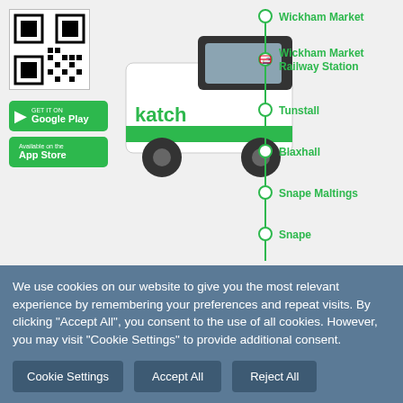[Figure (infographic): A green and white van with 'katch' branding, QR code, Google Play and App Store badges on the left, and a route map with stops on the right showing: Wickham Market, Wickham Market Railway Station, Tunstall, Blaxhall, Snape Maltings, Snape]
Leiston/Aldeburgh Rail/Bus Ticket
[Figure (infographic): Orange card partially visible showing 'lia' text]
We use cookies on our website to give you the most relevant experience by remembering your preferences and repeat visits. By clicking "Accept All", you consent to the use of all cookies. However, you may visit "Cookie Settings" to provide additional consent.
Cookie Settings
Accept All
Reject All